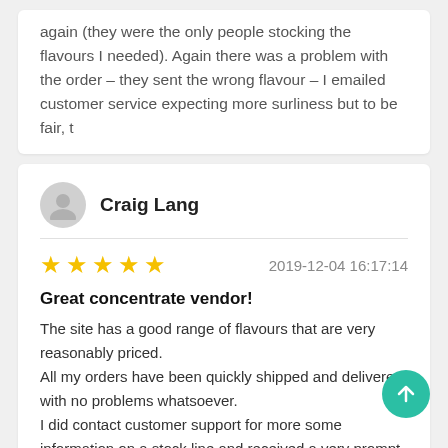again (they were the only people stocking the flavours I needed). Again there was a problem with the order – they sent the wrong flavour – I emailed customer service expecting more surliness but to be fair, t
Craig Lang
★★★★★  2019-12-04 16:17:14
Great concentrate vendor!
The site has a good range of flavours that are very reasonably priced.
All my orders have been quickly shipped and delivered with no problems whatsoever.
I did contact customer support for more some information on a stock line and received a very prompt response answering my query.
A repeat customer, and I'll be back again!